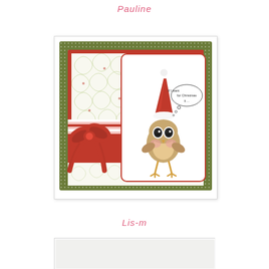Pauline
[Figure (photo): Handmade Christmas card featuring a cute cartoon owl wearing a red Santa hat with a white pompom, standing on green dotted patterned paper with red borders, a decorative swirly patterned paper panel in the top left, a red ribbon bow on the left side, and a speech bubble saying 'If I want for Christmas...' The card has layered papers in red, green and white with a scalloped white base.]
Lis-m
[Figure (photo): Partial view of another handmade Christmas card, only the top edge visible]